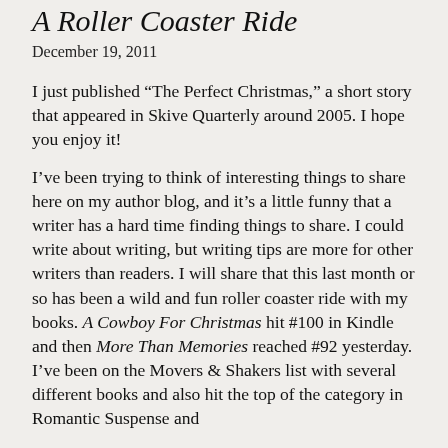A Roller Coaster Ride
December 19, 2011
I just published “The Perfect Christmas,” a short story that appeared in Skive Quarterly around 2005. I hope you enjoy it!
I’ve been trying to think of interesting things to share here on my author blog, and it’s a little funny that a writer has a hard time finding things to share. I could write about writing, but writing tips are more for other writers than readers. I will share that this last month or so has been a wild and fun roller coaster ride with my books. A Cowboy For Christmas hit #100 in Kindle and then More Than Memories reached #92 yesterday. I’ve been on the Movers & Shakers list with several different books and also hit the top of the category in Romantic Suspense and